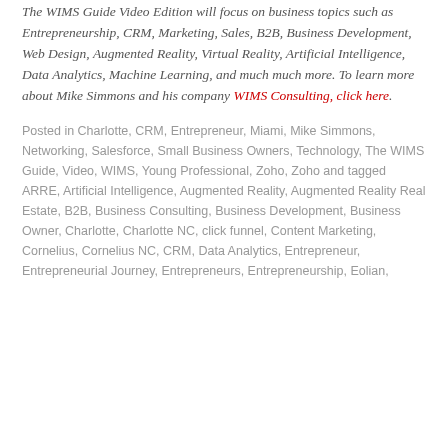The WIMS Guide Video Edition will focus on business topics such as Entrepreneurship, CRM, Marketing, Sales, B2B, Business Development, Web Design, Augmented Reality, Virtual Reality, Artificial Intelligence, Data Analytics, Machine Learning, and much much more. To learn more about Mike Simmons and his company WIMS Consulting, click here.
Posted in Charlotte, CRM, Entrepreneur, Miami, Mike Simmons, Networking, Salesforce, Small Business Owners, Technology, The WIMS Guide, Video, WIMS, Young Professional, Zoho, Zoho and tagged ARRE, Artificial Intelligence, Augmented Reality, Augmented Reality Real Estate, B2B, Business Consulting, Business Development, Business Owner, Charlotte, Charlotte NC, click funnel, Content Marketing, Cornelius, Cornelius NC, CRM, Data Analytics, Entrepreneur, Entrepreneurial Journey, Entrepreneurs, Entrepreneurship, Eolian,